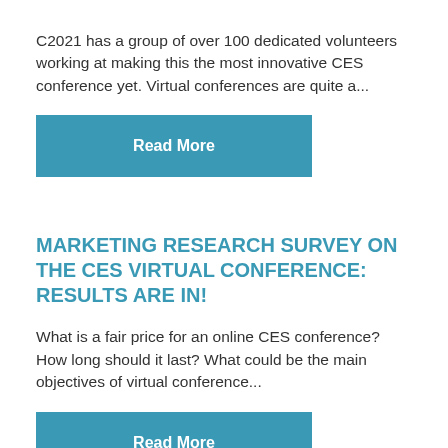C2021 has a group of over 100 dedicated volunteers working at making this the most innovative CES conference yet. Virtual conferences are quite a...
Read More
MARKETING RESEARCH SURVEY ON THE CES VIRTUAL CONFERENCE: RESULTS ARE IN!
What is a fair price for an online CES conference? How long should it last? What could be the main objectives of virtual conference...
Read More